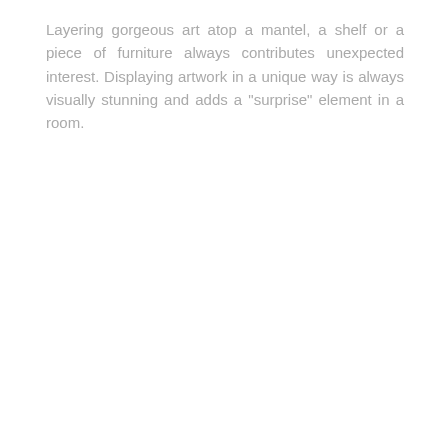Layering gorgeous art atop a mantel, a shelf or a piece of furniture always contributes unexpected interest. Displaying artwork in a unique way is always visually stunning and adds a "surprise" element in a room.